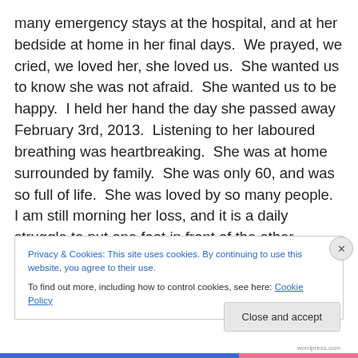many emergency stays at the hospital, and at her bedside at home in her final days.  We prayed, we cried, we loved her, she loved us.  She wanted us to know she was not afraid.  She wanted us to be happy.  I held her hand the day she passed away February 3rd, 2013.  Listening to her laboured breathing was heartbreaking.  She was at home surrounded by family.  She was only 60, and was so full of life.  She was loved by so many people.  I am still morning her loss, and it is a daily struggle to put one foot in front of the other.
Privacy & Cookies: This site uses cookies. By continuing to use this website, you agree to their use.
To find out more, including how to control cookies, see here: Cookie Policy